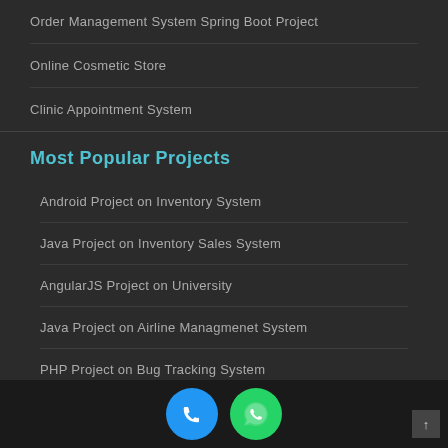Order Management System Spring Boot Project
Online Cosmetic Store
Clinic Appointment System
Most Popular Projects
Android Project on Inventory System
Java Project on Inventory Sales System
AngularJS Project on University
Java Project on Airline Managmenet System
PHP Project on Bug Tracking System
PHP Project on Collage Registration System